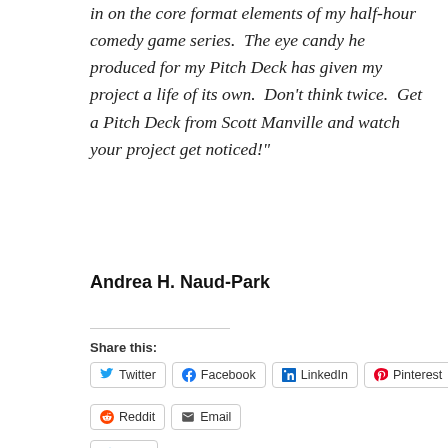in on the core format elements of my half-hour comedy game series.  The eye candy he produced for my Pitch Deck has given my project a life of its own.  Don't think twice.  Get a Pitch Deck from Scott Manville and watch your project get noticed!"
Andrea H. Naud-Park
Share this:
Twitter  Facebook  LinkedIn  Pinterest
Reddit  Email
Like